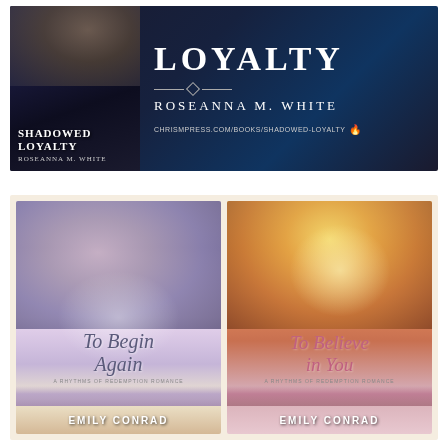[Figure (illustration): Promotional banner for 'Shadowed Loyalty' by Roseanna M. White. Dark blue background with book cover on left showing a woman's face and the book title, and large text on right reading 'LOYALTY' / 'Roseanna M. White' / 'chrismpress.com/books/shadowed-loyalty']
[Figure (illustration): Two romance novel book covers side by side on a light beige background. Left: 'To Begin Again' by Emily Conrad — couple embracing, lavender/purple tones. Right: 'To Believe in You' by Emily Conrad — couple with sunburst, warm golden tones. Both are 'A Rhythms of Redemption Romance' series.]